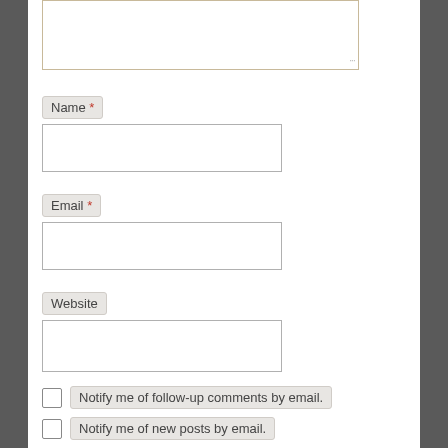[Comment textarea]
Name *
[Name input field]
Email *
[Email input field]
Website
[Website input field]
Notify me of follow-up comments by email.
Notify me of new posts by email.